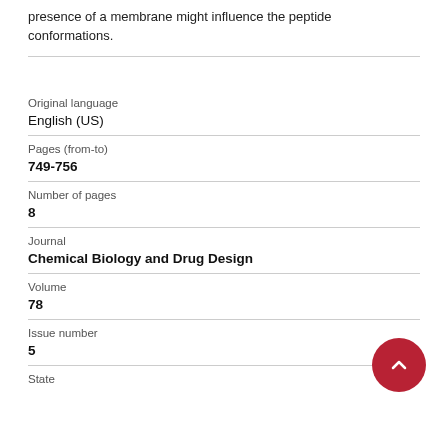presence of a membrane might influence the peptide conformations.
| Original language | English (US) |
| Pages (from-to) | 749-756 |
| Number of pages | 8 |
| Journal | Chemical Biology and Drug Design |
| Volume | 78 |
| Issue number | 5 |
| State |  |